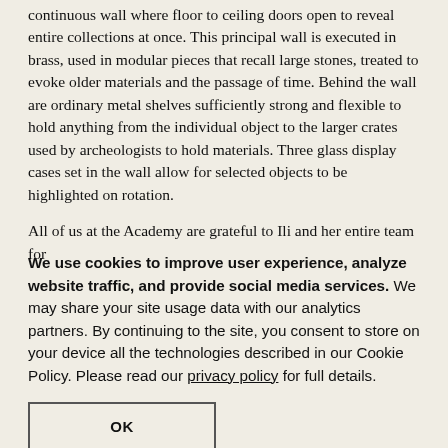continuous wall where floor to ceiling doors open to reveal entire collections at once. This principal wall is executed in brass, used in modular pieces that recall large stones, treated to evoke older materials and the passage of time. Behind the wall are ordinary metal shelves sufficiently strong and flexible to hold anything from the individual object to the larger crates used by archeologists to hold materials. Three glass display cases set in the wall allow for selected objects to be highlighted on rotation.

All of us at the Academy are grateful to Ili and her entire team for
We use cookies to improve user experience, analyze website traffic, and provide social media services. We may share your site usage data with our analytics partners. By continuing to the site, you consent to store on your device all the technologies described in our Cookie Policy. Please read our privacy policy for full details.
OK